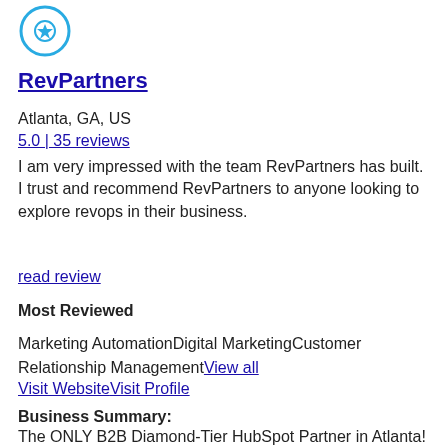[Figure (logo): Circular icon with a star inside, outlined in teal/cyan color]
RevPartners
Atlanta, GA, US
5.0 | 35 reviews
I am very impressed with the team RevPartners has built. I trust and recommend RevPartners to anyone looking to explore revops in their business.
read review
Most Reviewed
Marketing AutomationDigital MarketingCustomer Relationship ManagementView all
Visit WebsiteVisit Profile
Business Summary:
The ONLY B2B Diamond-Tier HubSpot Partner in Atlanta!
read more